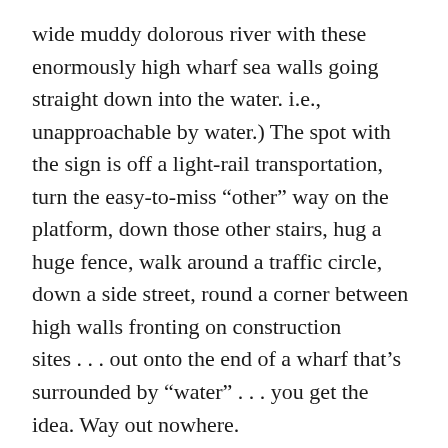wide muddy dolorous river with these enormously high wharf sea walls going straight down into the water. i.e., unapproachable by water.) The spot with the sign is off a light-rail transportation, turn the easy-to-miss “other” way on the platform, down those other stairs, hug a huge fence, walk around a traffic circle, down a side street, round a corner between high walls fronting on construction sites . . . out onto the end of a wharf that’s surrounded by “water” . . . you get the idea. Way out nowhere.
Anyway. Little shed. Sign. I open the door. If memory serves, it was literally a shed. With a little phone in it. Looking behind me—seen too many movies, so I’m watching for someone to sneak up behind me while I’m distracted by the phone... Looking behind me I pick it